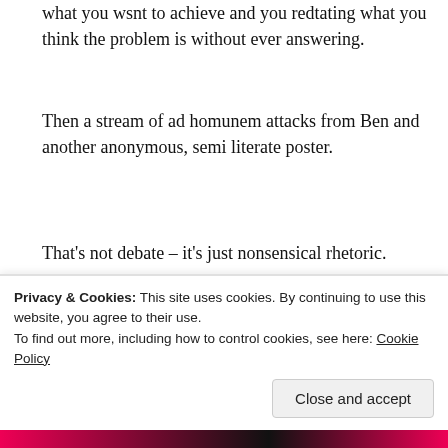what you wsnt to achieve and you redtating what you think the problem is without ever answering.
Then a stream of ad homunem attacks from Ben and another anonymous, semi literate poster.
That's not debate – it's just nonsensical rhetoric.
★ Like
Privacy & Cookies: This site uses cookies. By continuing to use this website, you agree to their use.
To find out more, including how to control cookies, see here: Cookie Policy
Close and accept